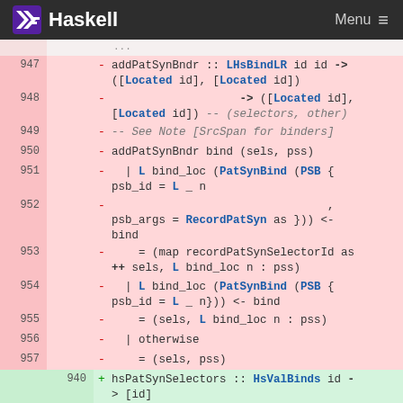Haskell  Menu
Diff view of Haskell source code showing lines 947-957 removed and line 940 added. Lines show addPatSynBndr and hsPatSynSelectors functions.